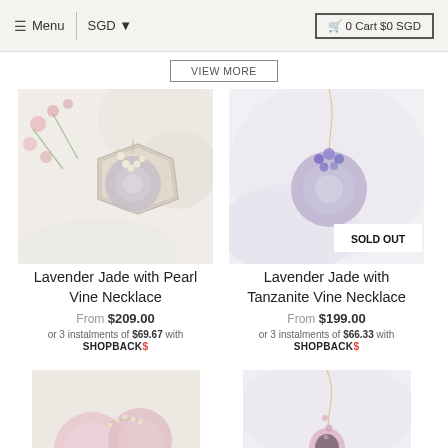≡ Menu | SGD ▾ | 🛒 0 Cart $0 SGD
VIEW MORE
[Figure (photo): Lavender jade donut pendant necklace with pearl vine on cream/white fabric background with pink flowers]
Lavender Jade with Pearl Vine Necklace
From $209.00
or 3 instalments of $69.67 with SHOPBACK$
[Figure (photo): Lavender jade donut pendant necklace with tanzanite vine on white fabric, with SOLD OUT badge]
Lavender Jade with Tanzanite Vine Necklace
From $199.00
or 3 instalments of $66.33 with SHOPBACK$
[Figure (photo): Rose quartz sphere earrings with crescent moon pearl accent, partial view]
[Figure (photo): Necklace with pink gemstone pendant on white fabric, partial view]